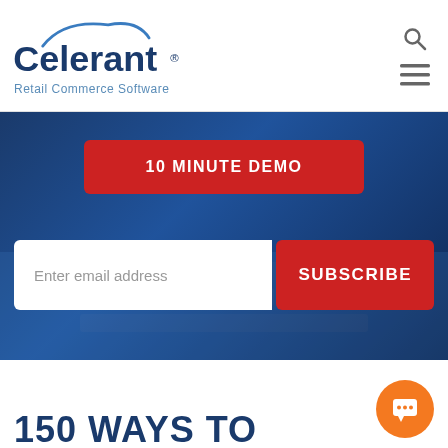[Figure (logo): Celerant Retail Commerce Software logo with cloud arc above text]
[Figure (infographic): Hero banner with dark blue overlay on laptop keyboard background, containing '10 MINUTE DEMO' red button and email subscribe form with red SUBSCRIBE button]
150 WAYS TO